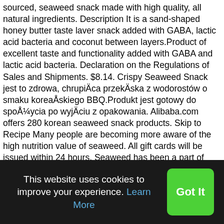sourced, seaweed snack made with high quality, all natural ingredients. Description It is a sand-shaped honey butter taste laver snack added with GABA, lactic acid bacteria and coconut between layers.Product of excellent taste and functionality added with GABA and lactic acid bacteria. Declaration on the Regulations of Sales and Shipments. $8.14. Crispy Seaweed Snack jest to zdrowa, chrupiąca przekąska z wodorostów o smaku koreańskiego BBQ.Produkt jest gotowy do spożycia po wyjęciu z opakowania. Alibaba.com offers 280 korean seaweed snack products. Skip to Recipe Many people are becoming more aware of the high nutrition value of seaweed. All gift cards will be issued within 24 hours. Seaweed has been a part of diets in China, Japan and Korea since prehistoric times. Healthy Snacking How-To's, Seaweed Edition. Waga netto: 5g Kraj pochodzenia: Korea Południowa Przechowywać w suchym i chłodnym miejscu $4.51. … 21 Products. Your Cart. Gim (Korean seaweed) is known as
This website uses cookies to improve your experience. Learn More